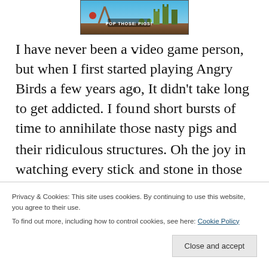[Figure (screenshot): Angry Birds game banner showing 'POP THOSE PIGS!' text with game graphics featuring pigs and structures]
I have never been a video game person, but when I first started playing Angry Birds a few years ago, It didn't take long to get addicted. I found short bursts of time to annihilate those nasty pigs and their ridiculous structures. Oh the joy in watching every stick and stone in those structures crumble while I racked up stars! The problem arose when short minutes became long ones because I couldn't defeat those ham hucksters in the first round. I
Privacy & Cookies: This site uses cookies. By continuing to use this website, you agree to their use.
To find out more, including how to control cookies, see here: Cookie Policy
side. Not only did I need to destroy structure and Pig